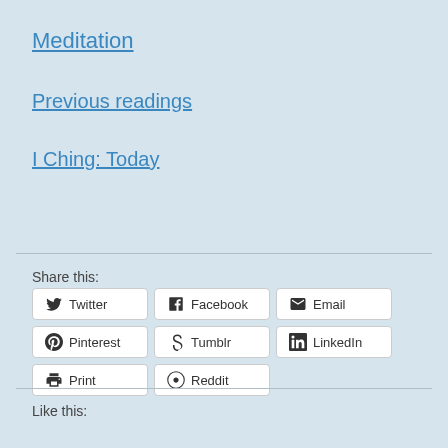Meditation
Previous readings
I Ching: Today
Share this:
Twitter | Facebook | Email | Pinterest | Tumblr | LinkedIn | Print | Reddit
Like this: